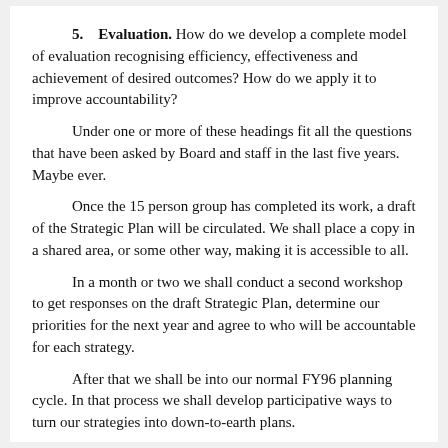5. Evaluation. How do we develop a complete model of evaluation recognising efficiency, effectiveness and achievement of desired outcomes? How do we apply it to improve accountability?
Under one or more of these headings fit all the questions that have been asked by Board and staff in the last five years. Maybe ever.
Once the 15 person group has completed its work, a draft of the Strategic Plan will be circulated. We shall place a copy in a shared area, or some other way, making it is accessible to all.
In a month or two we shall conduct a second workshop to get responses on the draft Strategic Plan, determine our priorities for the next year and agree to who will be accountable for each strategy.
After that we shall be into our normal FY96 planning cycle. In that process we shall develop participative ways to turn our strategies into down-to-earth plans.